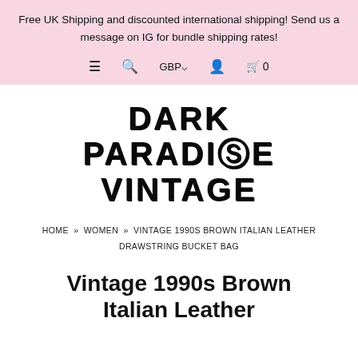Free UK Shipping and discounted international shipping! Send us a message on IG for bundle shipping rates!
[Figure (screenshot): Navigation bar with hamburger menu, search icon, GBP currency selector, account icon, and cart with 0 items]
[Figure (logo): Dark Paradise Vintage logo in dripping horror-style bold black font on white background]
HOME » WOMEN » VINTAGE 1990S BROWN ITALIAN LEATHER DRAWSTRING BUCKET BAG
Vintage 1990s Brown Italian Leather